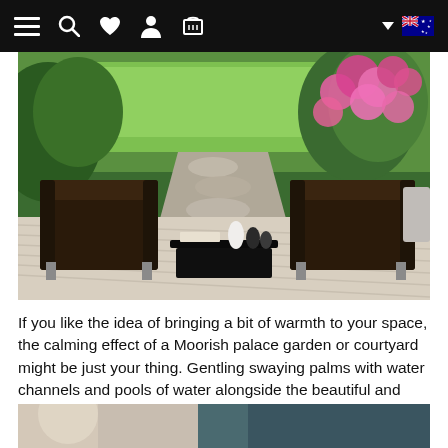Navigation bar with menu, search, wishlist, account, cart icons and Australian flag
[Figure (photo): Outdoor patio scene with two dark brown armchairs and a low black coffee table on a light wood deck. Background shows a stone pathway, lush green lawn, and bright pink flowering bushes (peonies) in a garden setting.]
If you like the idea of bringing a bit of warmth to your space, the calming effect of a Moorish palace garden or courtyard might be just your thing. Gentling swaying palms with water channels and pools of water alongside the beautiful and intricate architecture can create a relaxing and peaceful backdrop to your room. Try the gardens of the majestic Alhambra in Grenada, Spain for some inspiration!
[Figure (photo): Partial view of another interior/garden image at the bottom of the page, partially cropped.]